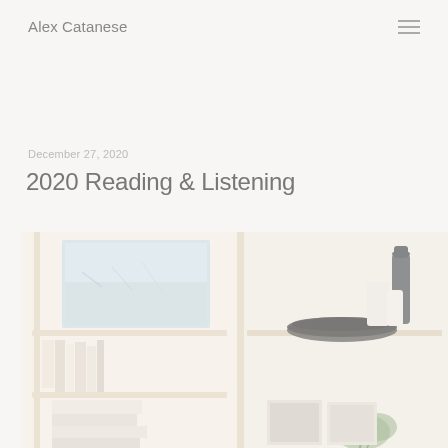Alex Catanese
December 27, 2020
2020 Reading & Listening
[Figure (photo): A bright, airy photo of wooden shelves with books, decorative objects, a dark bowl, a vase, and a small green plant, all washed in warm white light.]